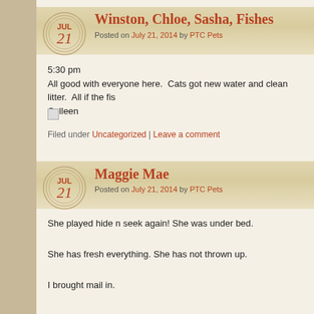Winston, Chloe, Sasha, Fishes
Posted on July 21, 2014 by PTC Pets
5:30 pm
All good with everyone here.  Cats got new water and clean litter.  All if the fis
Colleen
Filed under Uncategorized | Leave a comment
Maggie Mae
Posted on July 21, 2014 by PTC Pets
She played hide n seek again! She was under bed.

She has fresh everything. She has not thrown up.

I brought mail in.